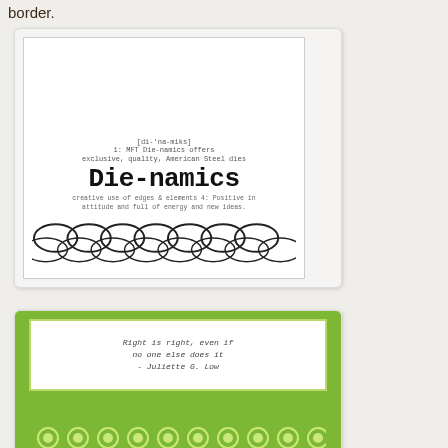border.
[Figure (illustration): Die-namics product card showing definition text and a row of oval die-cut shapes along the bottom. Text reads: [di-'na-miks] 1: MFT Die-namics offers exclusive, quality, American Steel dies Die-namics creative use of edges & elements 4: Positive in attitude and full of energy and new ideas.]
[Figure (photo): Photo of a handmade card on green background. White card with green border contains italic text: Right is right, even if no one else does it - Juliette G. Low. Bottom of card shows green patterned paper with white flower/circle designs.]